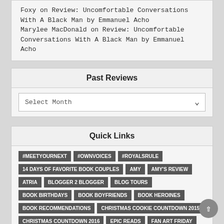Foxy on Review: Uncomfortable Conversations With A Black Man by Emmanuel Acho
Marylee MacDonald on Review: Uncomfortable Conversations With A Black Man by Emmanuel Acho
Past Reviews
Select Month
Quick Links
#MEETYOURNEXT
#OWNVOICES
#ROYALSRULE
14 DAYS OF FAVORITE BOOK COUPLES
AMY
AMY'S REVIEW
ATRIA
BLOGGER 2 BLOGGER
BLOG TOURS
BOOK BIRTHDAYS
BOOK BOYFRIENDS
BOOK HEROINES
BOOK RECOMMENDATIONS
CHRISTMAS COOKIE COUNTDOWN 2015
CHRISTMAS COUNTDOWN 2016
EPIC READS
FAN ART FRIDAY
GIVEAWAY
GOODWILL HUNTING